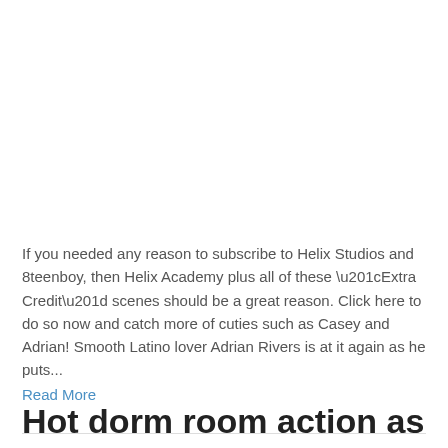If you needed any reason to subscribe to Helix Studios and 8teenboy, then Helix Academy plus all of these “Extra Credit” scenes should be a great reason. Click here to do so now and catch more of cuties such as Casey and Adrian! Smooth Latino lover Adrian Rivers is at it again as he puts…
Read More
Hot dorm room action as